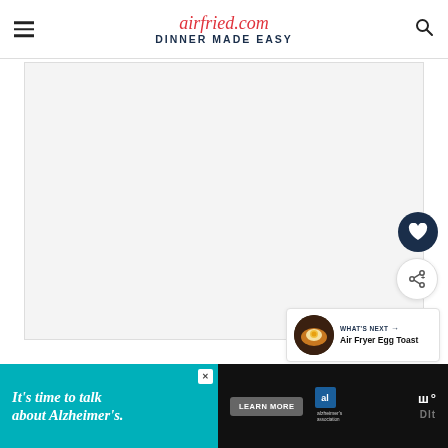airfried.com DINNER MADE EASY
[Figure (screenshot): Main content area placeholder (white/light gray box, empty or image area)]
[Figure (illustration): Dark navy heart icon button (favorite/save)]
[Figure (illustration): White share icon button with plus symbol]
[Figure (other): What's Next panel with thumbnail of egg toast and label 'WHAT'S NEXT → Air Fryer Egg Toast']
[Figure (other): Ad banner: teal area with text 'It's time to talk about Alzheimer's.' and LEARN MORE button, Alzheimer's Association logo, and right side branding]